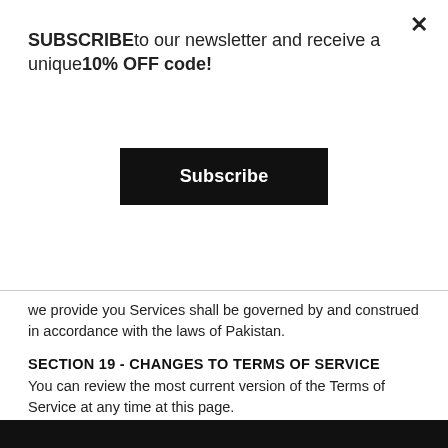SUBSCRIBEto our newsletter and receive a unique10% OFF code!
Subscribe
we provide you Services shall be governed by and construed in accordance with the laws of Pakistan.
SECTION 19 - CHANGES TO TERMS OF SERVICE
You can review the most current version of the Terms of Service at any time at this page.
We reserve the right, at our sole discretion, to update, change or replace any part of these Terms of Service by posting updates and changes to our website. It is your responsibility to check our website periodically for changes. Your continued use of or access to our website or the Service following the posting of any changes to these Terms of Service constitutes acceptance of those changes.
SECTION 20 - CONTACT INFORMATION